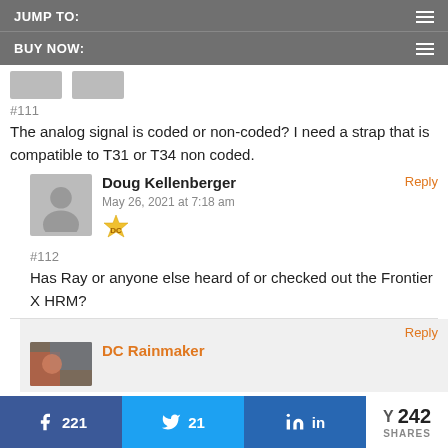JUMP TO:
BUY NOW:
#111
The analog signal is coded or non-coded? I need a strap that is compatible to T31 or T34 non coded.
Doug Kellenberger
May 26, 2021 at 7:18 am
#112
Has Ray or anyone else heard of or checked out the Frontier X HRM?
DC Rainmaker